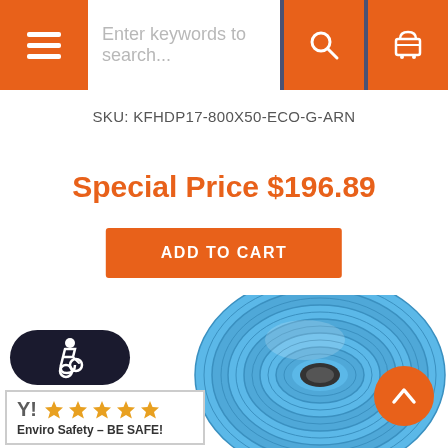Navigation bar with menu, search, and cart
SKU: KFHDP17-800X50-ECO-G-ARN
Special Price $196.89
ADD TO CART
[Figure (photo): Blue rolled flat hose / lay-flat hose coiled up, product image on white background]
[Figure (logo): Accessibility icon (wheelchair symbol) in white on dark oval background]
[Figure (logo): Enviro Safety - BE SAFE! badge with 4.5 star rating]